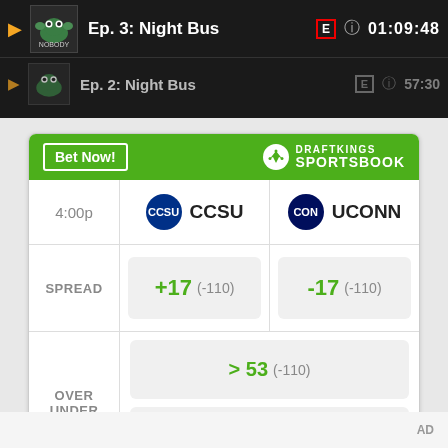[Figure (screenshot): Media player UI showing episode list with 'Ep. 3: Night Bus' entries, play buttons, E rating badge, info icon, and timestamps 01:09:48 and 57:30]
[Figure (infographic): DraftKings Sportsbook betting widget showing CCSU vs UCONN at 4:00p, spread of +17 (-110) for CCSU and -17 (-110) for UCONN, over/under of > 53 (-110) and < 53 (-110)]
Odds/Lines subject to change. See draftkings.com for details.
AD